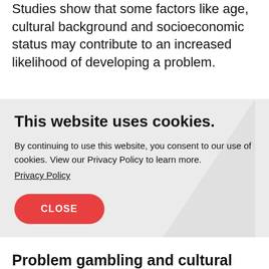Studies show that some factors like age, cultural background and socioeconomic status may contribute to an increased likelihood of developing a problem.
This website uses cookies.
By continuing to use this website, you consent to our use of cookies. View our Privacy Policy to learn more.
Privacy Policy
CLOSE
Problem gambling and cultural